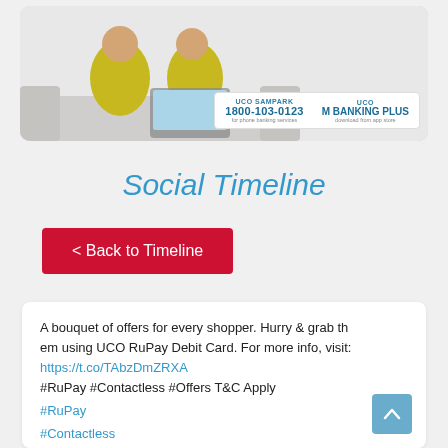[Figure (screenshot): Screenshot of UCO Bank advertisement showing two people on a couch with a laptop, and banking contact information including UCO SAMPARK 1800-103-0123 for phone banking services and UCO M BANKING PLUS download from app store]
Social Timeline
< Back to Timeline
A bouquet of offers for every shopper. Hurry & grab them using UCO RuPay Debit Card. For more info, visit: https://t.co/TAbzDmZRXA
#RuPay #Contactless #Offers T&C Apply
#RuPay
#Contactless
#Offers